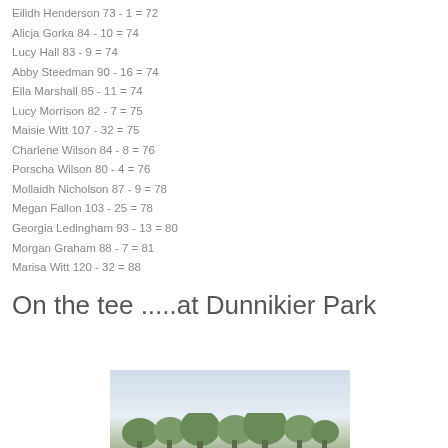Eilidh Henderson 73 - 1 = 72
Alicja Gorka 84 - 10 = 74
Lucy Hall 83 - 9 = 74
Abby Steedman 90 - 16 = 74
Ella Marshall 85 - 11 = 74
Lucy Morrison 82 - 7 = 75
Maisie Witt 107 - 32 = 75
Charlene Wilson 84 - 8 = 76
Porscha Wilson 80 - 4 = 76
Mollaidh Nicholson 87 - 9 = 78
Megan Fallon 103 - 25 = 78
Georgia Ledingham 93 - 13 = 80
Morgan Graham 88 - 7 = 81
Marisa Witt 120 - 32 = 88
On the tee .....at Dunnikier Park
[Figure (photo): Outdoor scene at Dunnikier Park golf course showing trees and sky]